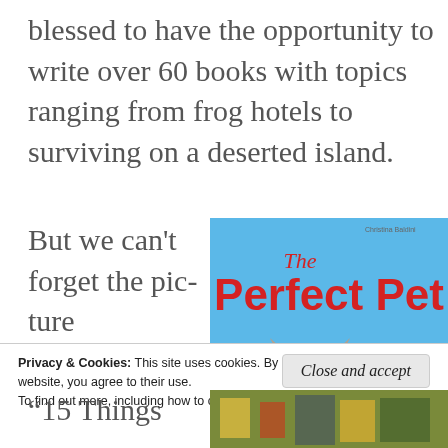blessed to have the opportunity to write over 60 books with topics ranging from frog hotels to surviving on a deserted island.
But we can't forget the picture
[Figure (photo): Book cover of 'The Perfect Pet' with red bold title text on a blue background, showing illustrated animals including a cat and butterfly]
Privacy & Cookies: This site uses cookies. By continuing to use this website, you agree to their use. To find out more, including how to control cookies, see here: Cookie Policy
Close and accept
“15 Things